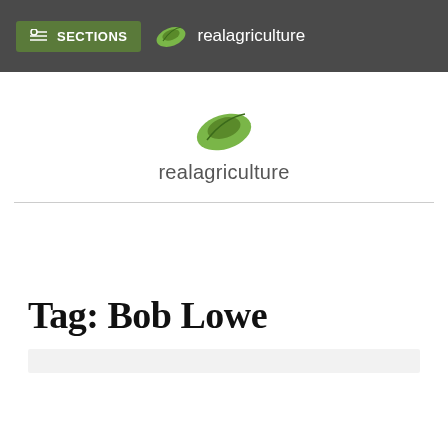SECTIONS | realagriculture
[Figure (logo): RealAgriculture logo: green leaf icon above the text 'realagriculture']
Tag: Bob Lowe